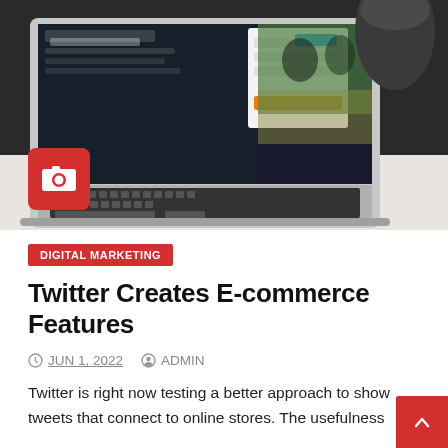[Figure (photo): Laptop computer displaying Twitter login page, placed on a desk with a dark decorative pot in the background. A red square with camera icon overlaid in bottom-left of image.]
DIGITAL MARKETING
Twitter Creates E-commerce Features
JUN 1, 2022   ADMIN
Twitter is right now testing a better approach to show tweets that connect to online stores. The usefulness